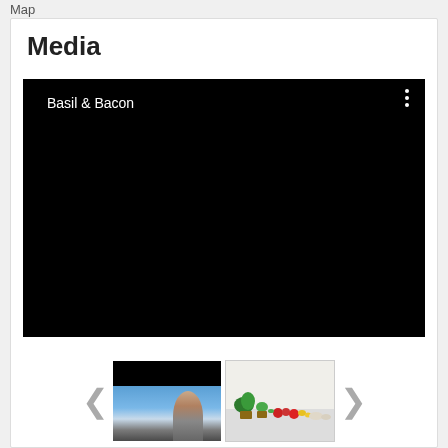Map
Media
[Figure (screenshot): Black video player area with title 'Basil & Bacon' in white text on left and three-dot menu icon on upper right]
[Figure (photo): Thumbnail 1: dark image showing a person near a window with ocean/sea view]
[Figure (photo): Thumbnail 2: food/ingredient photo showing herbs, tomatoes, vegetables and small bowls on white surface]